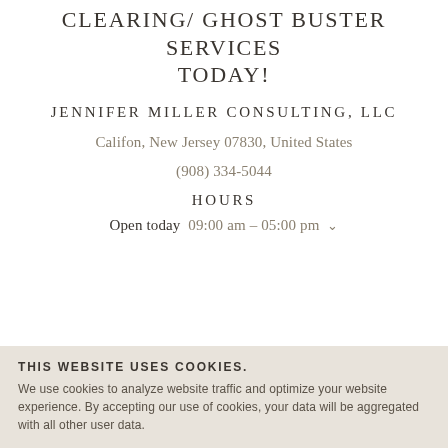CLEARING/ GHOST BUSTER SERVICES TODAY!
JENNIFER MILLER CONSULTING, LLC
Califon, New Jersey 07830, United States
(908) 334-5044
HOURS
Open today  09:00 am – 05:00 pm
THIS WEBSITE USES COOKIES.
We use cookies to analyze website traffic and optimize your website experience. By accepting our use of cookies, your data will be aggregated with all other user data.